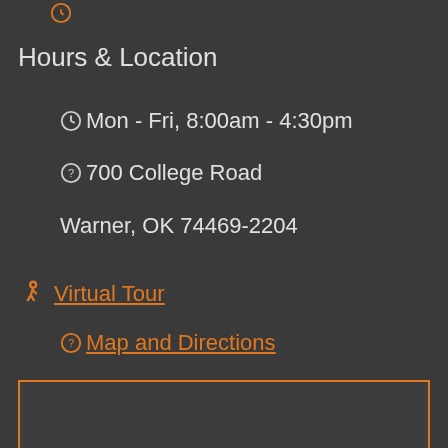Hours & Location
Mon - Fri, 8:00am - 4:30pm
700 College Road
Warner, OK 74469-2204
Virtual Tour
Map and Directions
[Figure (map): Embedded map area shown as dark rectangle with orange border]